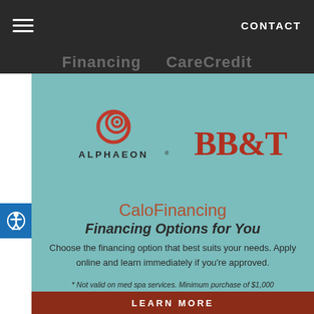CONTACT
[Figure (logo): ALPHAEON logo with red spiral icon]
[Figure (logo): BB&T logo in red serif font]
CaloFinancing
Financing Options for You
Choose the financing option that best suits your needs. Apply online and learn immediately if you're approved.
* Not valid on med spa services. Minimum purchase of $1,000